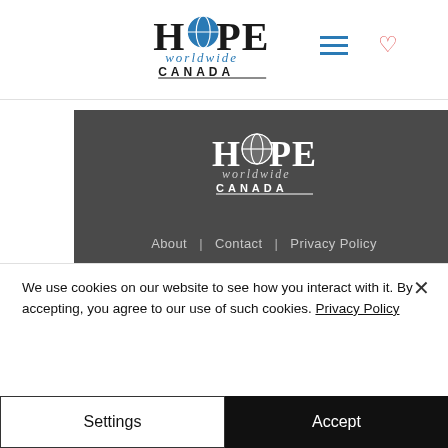[Figure (logo): HOPE worldwide CANADA logo in header, black text with blue globe replacing O]
[Figure (logo): HOPE worldwide CANADA logo in dark footer, white text with globe replacing O]
About | Contact | Privacy Policy
Charitable Registration # 888159860RR0001
© 2022 HOPE worldwide Canada
We use cookies on our website to see how you interact with it. By accepting, you agree to our use of such cookies. Privacy Policy
Settings
Accept